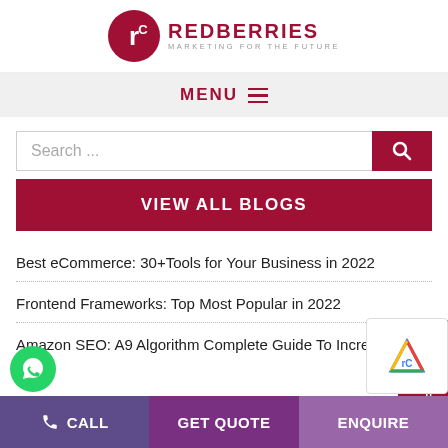[Figure (logo): Redberries logo — dark red circle with stylized R mark, text REDBERRIES in dark red, tagline MARKETING FOR THE FUTURE in grey]
MENU ≡
Search ...
VIEW ALL BLOGS
Best eCommerce: 30+Tools for Your Business in 2022
Frontend Frameworks: Top Most Popular in 2022
Amazon SEO: A9 Algorithm Complete Guide To Increa
CALL  GET QUOTE  ENQUIRE